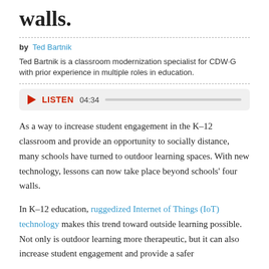walls.
by Ted Bartnik
Ted Bartnik is a classroom modernization specialist for CDW·G with prior experience in multiple roles in education.
[Figure (other): Audio player widget showing play button, LISTEN label, duration 04:34, and a progress bar]
As a way to increase student engagement in the K–12 classroom and provide an opportunity to socially distance, many schools have turned to outdoor learning spaces. With new technology, lessons can now take place beyond schools' four walls.
In K–12 education, ruggedized Internet of Things (IoT) technology makes this trend toward outside learning possible. Not only is outdoor learning more therapeutic, but it can also increase student engagement and provide a safer